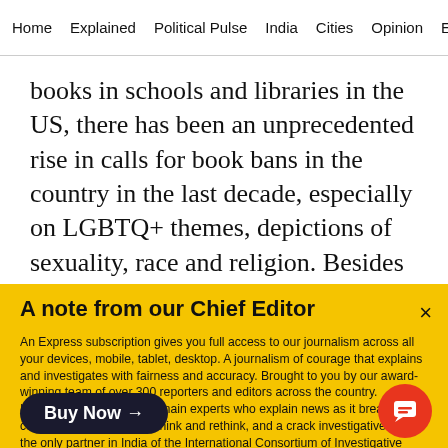Home  Explained  Political Pulse  India  Cities  Opinion  Entertainment
books in schools and libraries in the US, there has been an unprecedented rise in calls for book bans in the country in the last decade, especially on LGBTQ+ themes, depictions of sexuality, race and religion. Besides Morrison and Atwood, Harper
A note from our Chief Editor
An Express subscription gives you full access to our journalism across all your devices, mobile, tablet, desktop. A journalism of courage that explains and investigates with fairness and accuracy. Brought to you by our award-winning team of over 300 reporters and editors across the country. Including a team of top domain experts who explain news as it breaks, columnists who make us think and rethink, and a crack investigative team, the only partner in India of the International Consortium of Investigative Journalists. Jo
Buy Now →